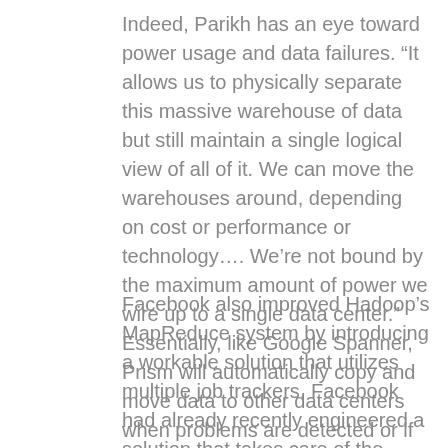Indeed, Parikh has an eye toward power usage and data failures. “It allows us to physically separate this massive warehouse of data but still maintain a single logical view of all of it. We can move the warehouses around, depending on cost or performance or technology…. We’re not bound by the maximum amount of power we wire up to a single data center.” Essentially, like Google Spanner, Prism will automatically copy and move data to other data centers when problems are detected or if needed elsewhere.
Facebook also improved Hadoop’s MapReduce system by introducing a workable solution that utilizes multiple job trackers. Facebook had already recently engineered a solution that takes care of the Hadoop File System which resulted in Hadoop’s HA NameNode, and Corona supplements that with a MapReduce fix. “In the past,” Parikh notes, “if we had a problem with the job tracker, everything kinda died, and you had to restart everything. The entire business was